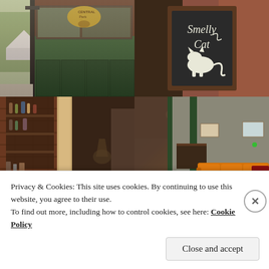[Figure (photo): Central Perk coffee shop exterior with green painted facade and sign in window]
[Figure (photo): Chalkboard sign reading 'Smelly Cat' with cat illustration in chalk on dark board]
[Figure (photo): Interior of cafe bar area with brick walls and shelves with bottles and items]
[Figure (photo): Interior of cafe showing iconic orange couch and dark ceiling with brick walls]
Privacy & Cookies: This site uses cookies. By continuing to use this website, you agree to their use.
To find out more, including how to control cookies, see here: Cookie Policy
Close and accept